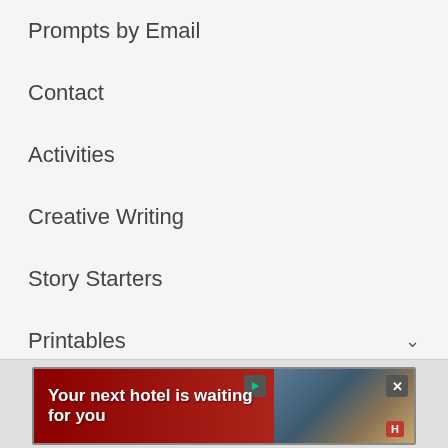Prompts by Email
Contact
Activities
Creative Writing
Story Starters
Printables
Themes
[Figure (screenshot): Advertisement banner: 'Your next hotel is waiting for you' with hotel image background and red gradient background, with play and close buttons]